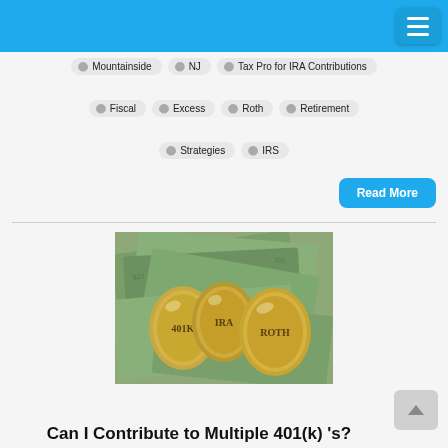Navigation bar with hamburger menu
Mountainside
NJ
Tax Pro for IRA Contributions
Fiscal
Excess
Roth
Retirement
Strategies
IRS
Read More
[Figure (photo): Three golden eggs labeled 401K, IRA, and ROTH resting on a pile of US dollar bills]
Can I Contribute to Multiple 401(k) 's?